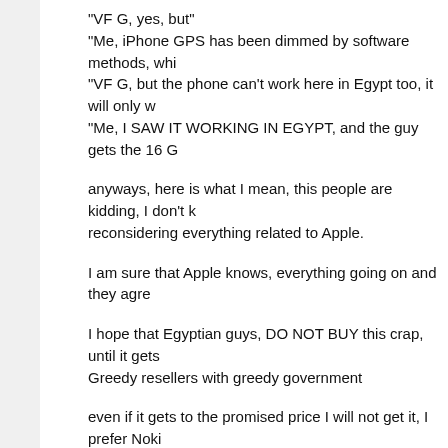"VF G, yes, but"
"Me, iPhone GPS has been dimmed by software methods, whi
"VF G, but the phone can't work here in Egypt too, it will only w
"Me, I SAW IT WORKING IN EGYPT, and the guy gets the 16 G
anyways, here is what I mean, this people are kidding, I don't k reconsidering everything related to Apple.
I am sure that Apple knows, everything going on and they agre
I hope that Egyptian guys, DO NOT BUY this crap, until it gets Greedy resellers with greedy government
even if it gets to the promised price I will not get it, I prefer Noki mobile needs, not with device without "Copy and Paste"
anyways, I hope that you miss me as I miss you :)
Thanks for your time.
BR
Ahmed Essam